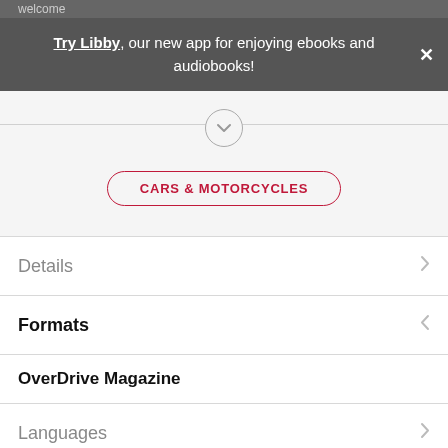welcome
Try Libby, our new app for enjoying ebooks and audiobooks!
[Figure (screenshot): Chevron down icon inside a circle with a horizontal divider line]
CARS & MOTORCYCLES
Details
Formats
OverDrive Magazine
Languages